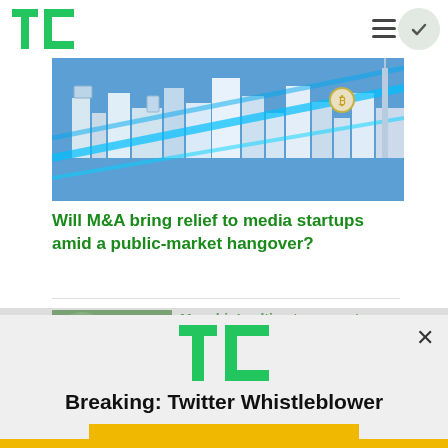TechCrunch
[Figure (illustration): Isometric illustration of a futuristic city with buildings, devices, and blue connecting lines on a blue background]
Will M&A bring relief to media startups amid a public-market hangover?
[Figure (photo): Photo of a man (Joe Manchin) against a green blurred background]
Manchin’s ultimatum may turn the US into a battery powerhouse
[Figure (logo): TechCrunch TC logo in green]
Breaking: Twitter Whistleblower
READ NOW